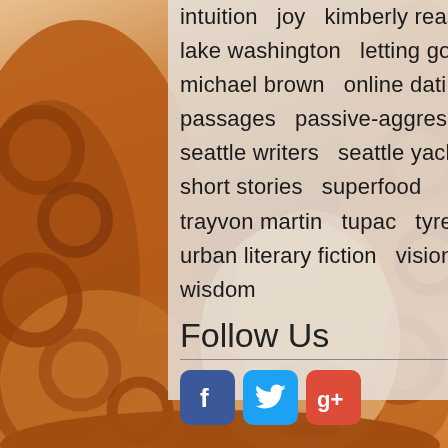[Figure (photo): Woman with curly auburn/red hair, background photo filling the page]
intuition  joy  kimberly reason  lake washington  letting go  life  michael brown  online dating  passages  passive-aggressive  seattle writers  seattle yachting  short stories  superfood  trayvon martin  tupac  tyrese  urban literary fiction  vision  wisdom
Follow Us
[Figure (logo): Facebook icon (blue rounded square with white F)]
[Figure (logo): Twitter icon (light blue rounded square with white bird)]
[Figure (logo): Google+ icon (red/orange rounded square with white g+)]